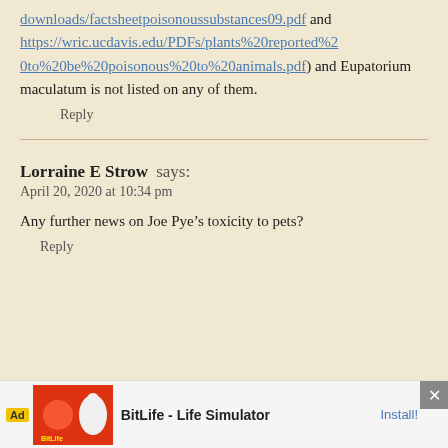downloads/factsheetpoisonoussubstances09.pdf and https://wric.ucdavis.edu/PDFs/plants%20reported%20to%20be%20poisonous%20to%20animals.pdf) and Eupatorium maculatum is not listed on any of them.
Reply
Lorraine E Strow says:
April 20, 2020 at 10:34 pm
Any further news on Joe Pye’s toxicity to pets?
Reply